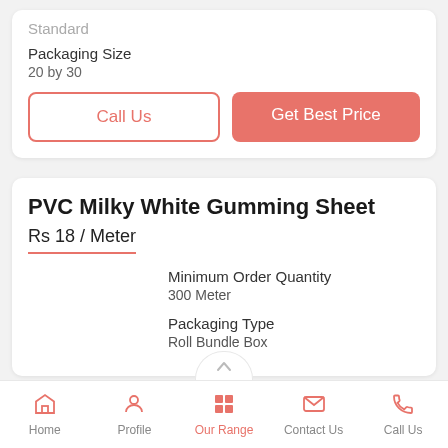Standard
Packaging Size
20 by 30
Call Us
Get Best Price
PVC Milky White Gumming Sheet
Rs 18 / Meter
Minimum Order Quantity
300 Meter
Packaging Type
Roll Bundle Box
Home   Profile   Our Range   Contact Us   Call Us